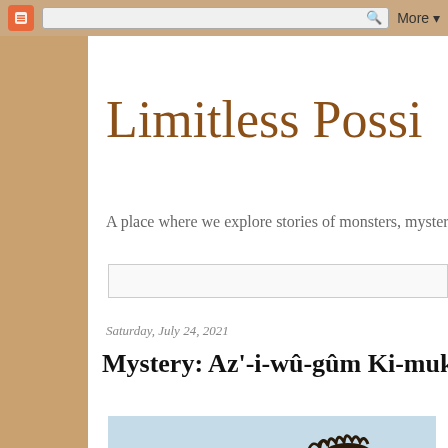Blogger | [search box] | More ▼
Limitless Possi
A place where we explore stories of monsters, mysteri
Saturday, July 24, 2021
Mystery: Az'-i-wû-gûm Ki-mukh'-ti
[Figure (photo): Partial view of a dark animal silhouette against a light sky background]